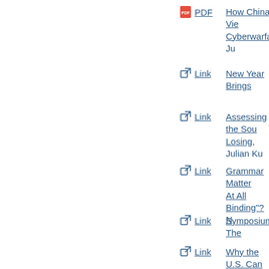PDF  How China's View... Cyberwarfare, Ju...
Link  New Year Brings...
Link  Assessing the Sou... Losing, Julian Ku
Link  Grammar Matter... At All Binding"? N...
Link  Symposium: The...
Link  Why the U.S. Can... Julian Ku
Link  Dear Secretary Ti...
Link  Emailing Does No...